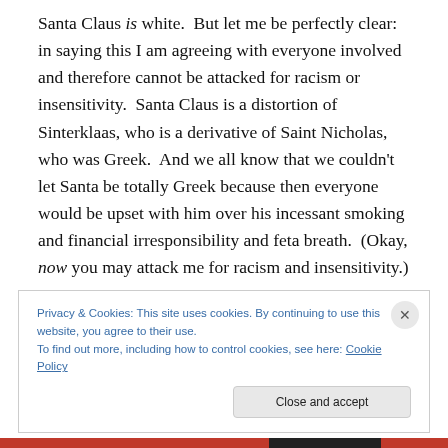Santa Claus is white.  But let me be perfectly clear: in saying this I am agreeing with everyone involved and therefore cannot be attacked for racism or insensitivity.  Santa Claus is a distortion of Sinterklaas, who is a derivative of Saint Nicholas, who was Greek.  And we all know that we couldn't let Santa be totally Greek because then everyone would be upset with him over his incessant smoking and financial irresponsibility and feta breath.  (Okay, now you may attack me for racism and insensitivity.)
Privacy & Cookies: This site uses cookies. By continuing to use this website, you agree to their use.
To find out more, including how to control cookies, see here: Cookie Policy
Close and accept